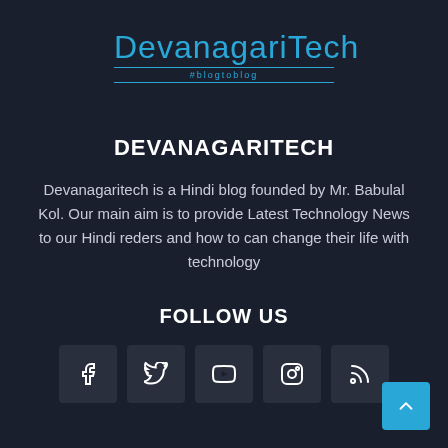[Figure (logo): DevanagariTech logo with cursive blue text and tagline '#blogtoblog']
DEVANAGARITECH
Devanagaritech is a Hindi blog founded by Mr. Babulal Kol. Our main aim is to provide Latest Technology News to our Hindi reders and how to can change their life with technology
FOLLOW US
[Figure (infographic): Social media icon buttons: Facebook, Twitter, YouTube, Instagram, RSS feed]
[Figure (infographic): Back to top button (blue arrow up)]